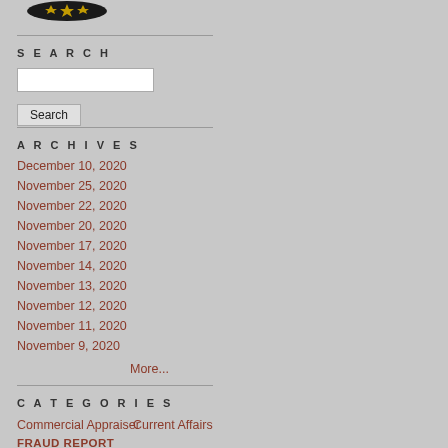[Figure (logo): Circular badge/seal logo with stars on black background]
SEARCH
Search input box and Search button
ARCHIVES
December 10, 2020
November 25, 2020
November 22, 2020
November 20, 2020
November 17, 2020
November 14, 2020
November 13, 2020
November 12, 2020
November 11, 2020
November 9, 2020
More...
CATEGORIES
Commercial Appraiser
Current Affairs
FRAUD REPORT